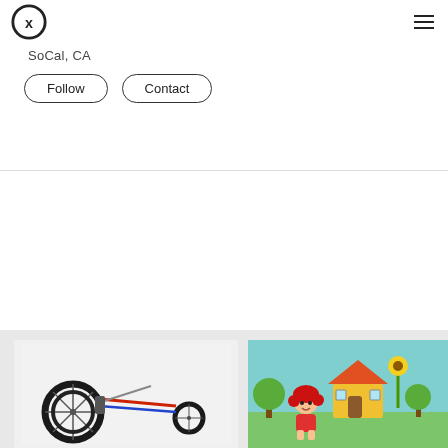CX logo and hamburger menu
SoCal, CA
Follow   Contact
[Figure (photo): Racing wheelchair frame with large rear wheels and small front wheel, on white background]
[Figure (illustration): Cartoon illustration of a cute girl character with red hair in a colorful village scene with trees, a house, sunflower, and blue sky]